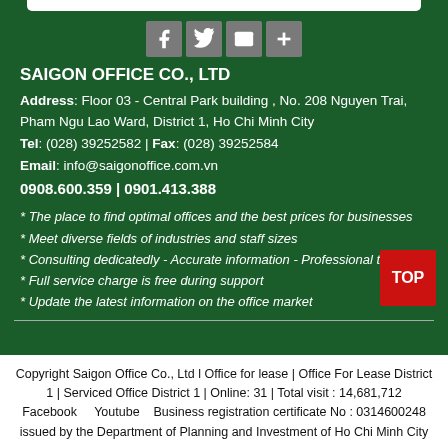[Figure (logo): Saigon Office logo bar at top, partially cropped]
[Figure (infographic): Social media icons row: Facebook, Twitter, Email, Plus]
SAIGON OFFICE CO., LTD
Address: Floor 03 - Central Park building , No. 208 Nguyen Trai, Pham Ngu Lao Ward, District 1, Ho Chi Minh City
Tel: (028) 39252582 | Fax: (028) 39252584
Email: info@saigonoffice.com.vn
0908.600.359 | 0901.413.388
* The place to find optimal offices and the best prices for businesses
* Meet diverse fields of industries and staff sizes
* Consulting dedicatedly - Accurate information - Professional team
* Full service charge is free during support
* Update the latest information on the office market
Copyright Saigon Office Co., Ltd l Office for lease | Office For Lease District 1 | Serviced Office District 1 | Online: 31 | Total visit : 14,681,712 Facebook    Youtube    Business registration certificate No : 0314600248 issued by the Department of Planning and Investment of Ho Chi Minh City